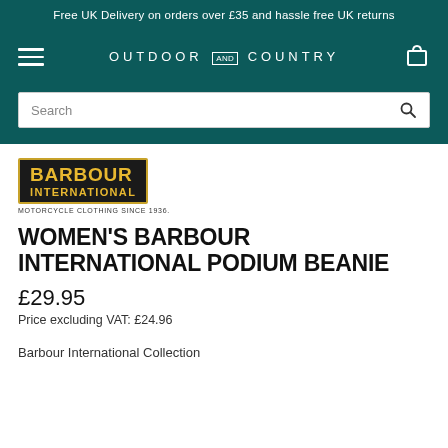Free UK Delivery on orders over £35 and hassle free UK returns
[Figure (logo): Outdoor and Country navigation bar with hamburger menu and shopping bag icon]
Search
[Figure (logo): Barbour International logo - black background with gold border, BARBOUR INTERNATIONAL text in gold, MOTORCYCLE CLOTHING SINCE 1936 tagline]
WOMEN'S BARBOUR INTERNATIONAL PODIUM BEANIE
£29.95
Price excluding VAT: £24.96
Barbour International Collection